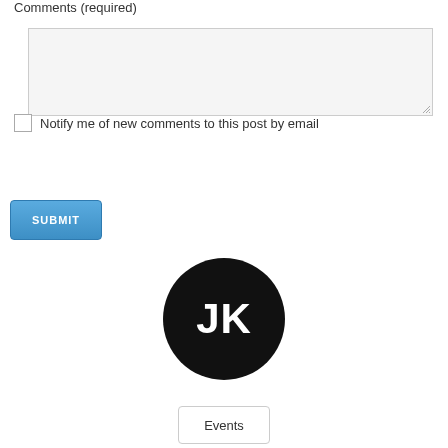Comments (required)
Notify me of new comments to this post by email
SUBMIT
[Figure (logo): Black circle with white letters JK — avatar/logo]
Events